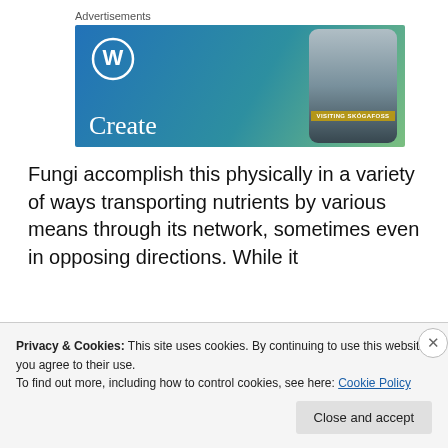Advertisements
[Figure (photo): WordPress advertisement banner with blue-green gradient background, WordPress logo (W in circle), text 'Create' in white serif font on left, and a phone mockup on the right showing a waterfall image with label 'VISITING SKOGAFOSS']
Fungi accomplish this physically in a variety of ways transporting nutrients by various means through its network, sometimes even in opposing directions. While it
Privacy & Cookies: This site uses cookies. By continuing to use this website, you agree to their use.
To find out more, including how to control cookies, see here: Cookie Policy
Close and accept